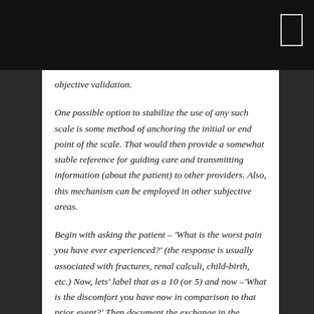objective validation.
One possible option to stabilize the use of any such scale is some method of anchoring the initial or end point of the scale. That would then provide a somewhat stable reference for guiding care and transmitting information (about the patient) to other providers. Also, this mechanism can be employed in other subjective areas.
Begin with asking the patient – 'What is the worst pain you have ever experienced?' (the response is usually associated with fractures, renal calculi, child-birth, etc.) Now, lets' label that as a 10 (or 5) and now –'What is the discomfort you have now in comparison to that prior event?' Then document the exchange in the record: Worst Pain: fractured wrist – 10); Current Pain: pulled muscle – 7. Now, no matter the number system you have an 'anchor' to both the scale and the present condition that can be related to the care process and others. It is important to document the 'source' of pain too –